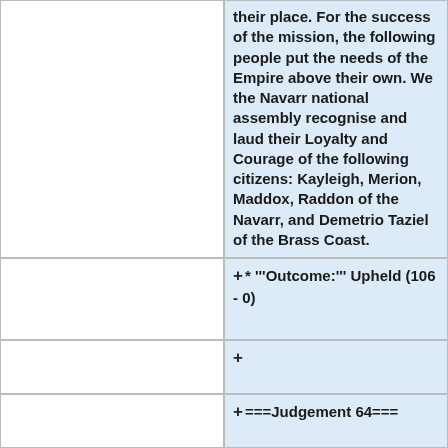their place. For the success of the mission, the following people put the needs of the Empire above their own. We the Navarr national assembly recognise and laud their Loyalty and Courage of the following citizens: Kayleigh, Merion, Maddox, Raddon of the Navarr, and Demetrio Taziel of the Brass Coast.
* '''Outcome:''' Upheld (106 - 0)
+
===Judgement 64===
* '''Assembly:''' Highguard National